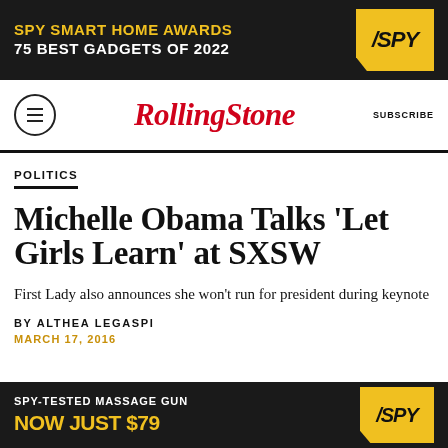[Figure (infographic): SPY Smart Home Awards advertisement banner: '75 BEST GADGETS OF 2022' with SPY logo badge in yellow on dark background]
RollingStone  SUBSCRIBE
POLITICS
Michelle Obama Talks 'Let Girls Learn' at SXSW
First Lady also announces she won't run for president during keynote
BY ALTHEA LEGASPI
MARCH 17, 2016
[Figure (infographic): SPY-Tested Massage Gun advertisement banner: 'NOW JUST $79' with SPY logo badge in yellow on dark background]